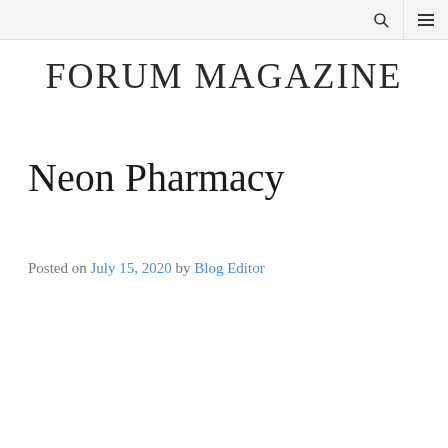FORUM MAGAZINE
Neon Pharmacy
Posted on July 15, 2020 by Blog Editor